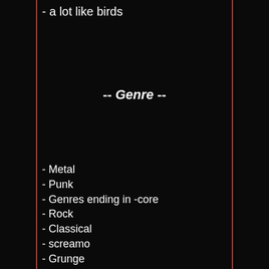- a lot like birds
-- Genre --
- Metal
- Punk
- Genres ending in -core
- Rock
- Classical
- screamo
- Grunge
- Emo
- alt rock
- Industrial
- Some techno
- Some pop
- Folk
- Dark Cabaret
- Swing Metal